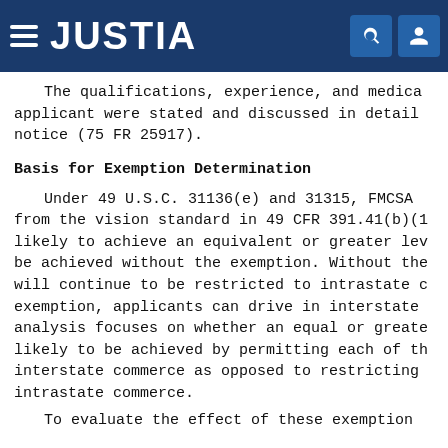JUSTIA
The qualifications, experience, and medical applicant were stated and discussed in detail notice (75 FR 25917).
Basis for Exemption Determination
Under 49 U.S.C. 31136(e) and 31315, FMCSA from the vision standard in 49 CFR 391.41(b)(1 likely to achieve an equivalent or greater lev be achieved without the exemption. Without the will continue to be restricted to intrastate c exemption, applicants can drive in interstate analysis focuses on whether an equal or greate likely to be achieved by permitting each of th interstate commerce as opposed to restricting intrastate commerce.
To evaluate the effect of these exemption